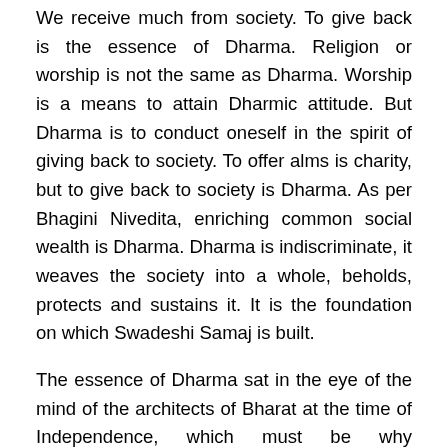We receive much from society. To give back is the essence of Dharma. Religion or worship is not the same as Dharma. Worship is a means to attain Dharmic attitude. But Dharma is to conduct oneself in the spirit of giving back to society. To offer alms is charity, but to give back to society is Dharma. As per Bhagini Nivedita, enriching common social wealth is Dharma. Dharma is indiscriminate, it weaves the society into a whole, beholds, protects and sustains it. It is the foundation on which Swadeshi Samaj is built.
The essence of Dharma sat in the eye of the mind of the architects of Bharat at the time of Independence, which must be why “dharmachakra pravartanaya” (for the propagation of the timeless cycle of Dharma) and “satyam vad, dharmam char” (speak the truth and act in dharma) are inscribed in the Lok Sabha and Rajya Sabha of Bharat